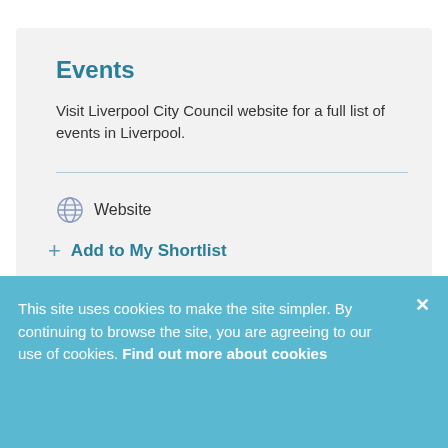Events
Visit Liverpool City Council website for a full list of events in Liverpool.
Website
Add to My Shortlist
This site uses cookies to make the site simpler. By continuing to browse the site, you are agreeing to our use of cookies. Find out more about cookies